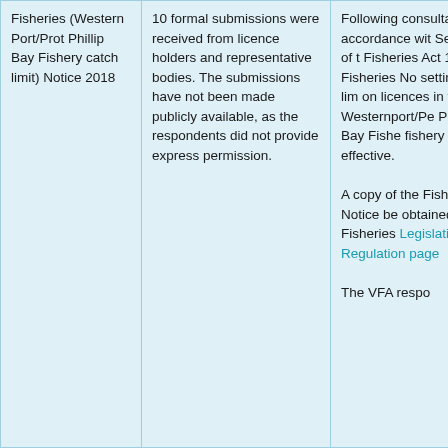| Fisheries (Western Port/Prot Phillip Bay Fishery catch limit) Notice 2018 | 10 formal submissions were received from licence holders and representative bodies. The submissions have not been made publicly available, as the respondents did not provide express permission. | Following consultation in accordance with Section 3A of the Fisheries Act 19... the Fisheries No... setting catch lim... on licences in the Westernport/Pe... Phillip Bay Fishe... fishery is now effective.

A copy of the Fisheries Notice... be obtained at the Fisheries Legislation and Regulation page...

The VFA respo... |